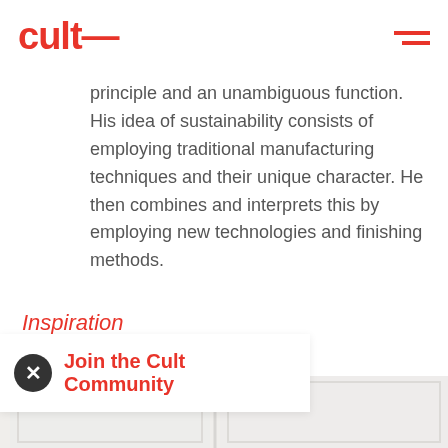CULT
principle and an unambiguous function. His idea of sustainability consists of employing traditional manufacturing techniques and their unique character. He then combines and interprets this by employing new technologies and finishing methods.
Inspiration
Join the Cult Community
[Figure (photo): Bottom portion of white paneled doors or wall panels, light grey/white tones]